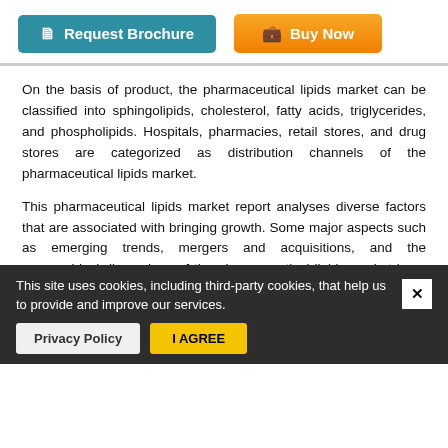[Figure (other): Request Brochure button (teal/blue-green) and Buy Now button (orange gradient) in a horizontal button bar at the top of the page.]
On the basis of product, the pharmaceutical lipids market can be classified into sphingolipids, cholesterol, fatty acids, triglycerides, and phospholipids. Hospitals, pharmacies, retail stores, and drug stores are categorized as distribution channels of the pharmaceutical lipids market.
This pharmaceutical lipids market report analyses diverse factors that are associated with bringing growth. Some major aspects such as emerging trends, mergers and acquisitions, and the geographical dimensions of the pharmaceutical lipids market have been thoroughly studied in this report. The stakeholders can gain good advantage from this report on the pharmaceutical lipids market. Furthermore, this report also carries an analysis of the COVID-19 impact on the pharmaceutical lipids market.
Pharmaceutical Lipids Market: Competitive Aspects
The intensified competition between domestic and international players in the pharmaceutical lipids market
This site uses cookies, including third-party cookies, that help us to provide and improve our services.
Privacy Policy
I AGREE